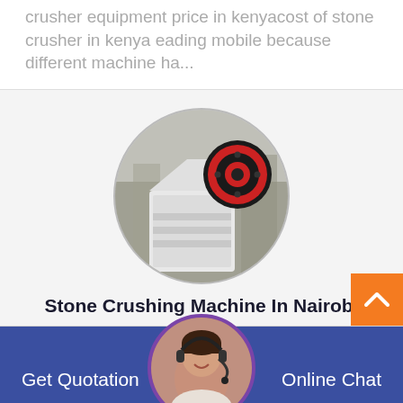crusher equipment price in kenyacost of stone crusher in kenya eading mobile because different machine ha...
[Figure (photo): Circular-cropped photo of an industrial jaw crusher / stone crushing machine in a factory setting. The machine is white/grey with a large red and black flywheel on top.]
Stone Crushing Machine In Nairobi
Get Quotation
[Figure (photo): Circular-cropped photo of a female customer service agent wearing a headset, smiling.]
Online Chat